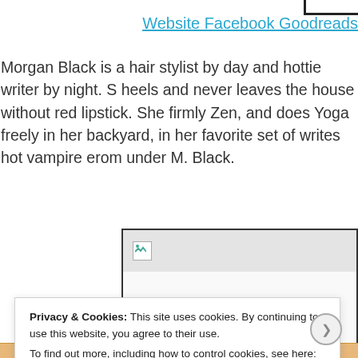Website Facebook Goodreads
Morgan Black is a hair stylist by day and hottie writer by night. S... heels and never leaves the house without red lipstick. She firmly... Zen, and does Yoga freely in her backyard, in her favorite set of... writes hot vampire erom under M. Black.
[Figure (screenshot): A screenshot of a webpage with a broken image icon in the top-left corner of the page header area.]
Privacy & Cookies: This site uses cookies. By continuing to use this website, you agree to their use. To find out more, including how to control cookies, see here: Cookie Policy
Close and accept